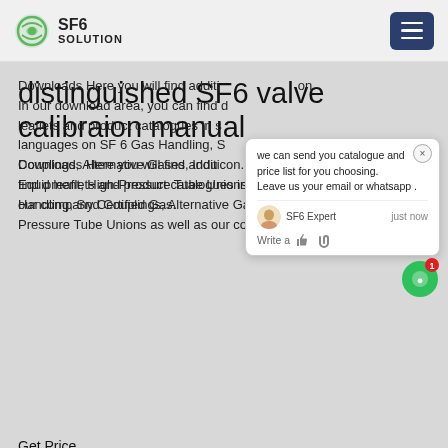SF6 SOLUTION
distinguished SF6 valve calibraion manual
Downloads Here you will find additional information. In our download area, you can find datasheets, leaflets and product catalogues in several languages on SF 6 Gas Handling, Switchgear and Couplings, Alternative Gases, Industrial Equipment, High-Pressure Tube Unions as well as our company Certified Gas.
Get Price
[Figure (photo): Photo of industrial equipment and power transmission tower/pylon]
[Figure (other): Chat popup widget with SF6 Expert agent offering to send catalogue and price list via email or whatsapp]